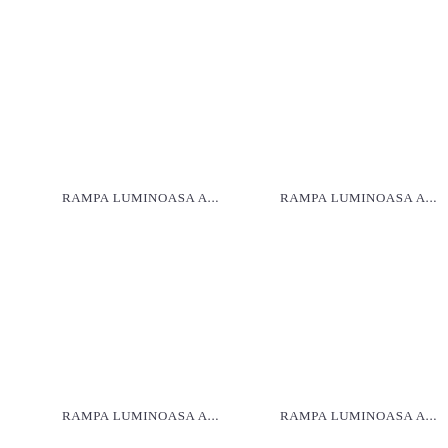RAMPA LUMINOASA A...
RAMPA LUMINOASA A...
RAMPA LUMINOASA A...
RAMPA LUMINOASA A...